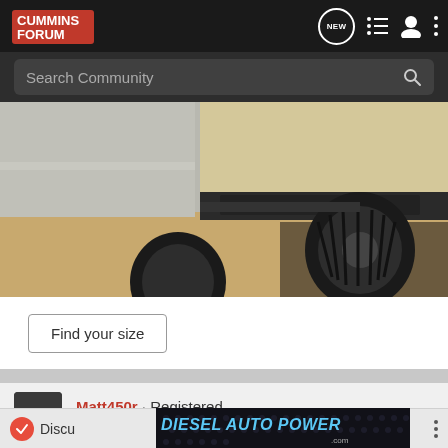Cummins Forum - Search Community
[Figure (photo): Close-up photo of a truck undercarriage and large off-road tire on a sandy/dirt surface, with a beige/tan truck body visible above]
Find your size
Matt450r · Registered
Joined Dec 14, 2009 · 48 Posts
[Figure (screenshot): Diesel Auto Power .com advertisement banner with blue metallic text on dark background with hexagonal pattern]
Discu